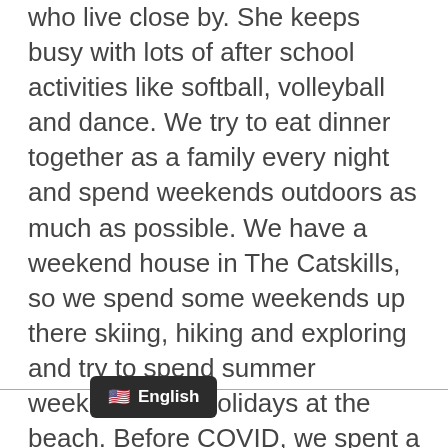who live close by. She keeps busy with lots of after school activities like softball, volleyball and dance. We try to eat dinner together as a family every night and spend weekends outdoors as much as possible. We have a weekend house in The Catskills, so we spend some weekends up there skiing, hiking and exploring and try to spend summer weekends and holidays at the beach. Before COVID, we spent a few weeks every summer in the UK visiting friends and relatives and hope to resume those trips once it's safe to travel again.
English